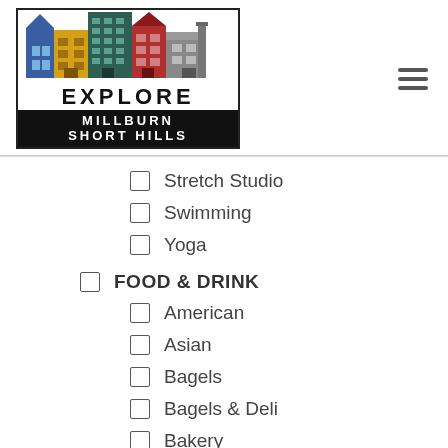[Figure (logo): Explore Millburn Short Hills logo with colorful buildings illustration above text on black/white banner]
Stretch Studio
Swimming
Yoga
FOOD & DRINK
American
Asian
Bagels
Bagels & Deli
Bakery
Bar